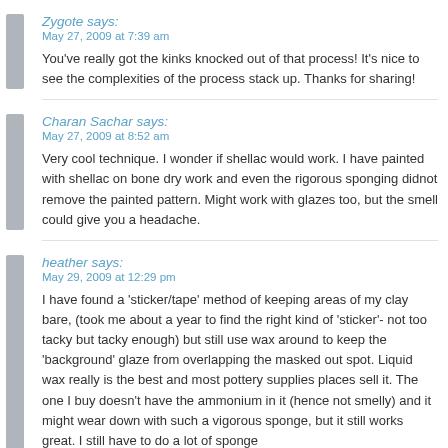Zygote says:
May 27, 2009 at 7:39 am
You've really got the kinks knocked out of that process! It's nice to see the complexities of the process stack up. Thanks for sharing!
Charan Sachar says:
May 27, 2009 at 8:52 am
Very cool technique. I wonder if shellac would work. I have painted with shellac on bone dry work and even the rigorous sponging didnot remove the painted pattern. Might work with glazes too, but the smell could give you a headache.
heather says:
May 29, 2009 at 12:29 pm
I have found a 'sticker/tape' method of keeping areas of my clay bare, (took me about a year to find the right kind of 'sticker'- not too tacky but tacky enough) but still use wax around to keep the 'background' glaze from overlapping the masked out spot. Liquid wax really is the best and most pottery supplies places sell it. The one I buy doesn't have the ammonium in it (hence not smelly) and it might wear down with such a vigorous sponge, but it still works great. I still have to do a lot of sponge...